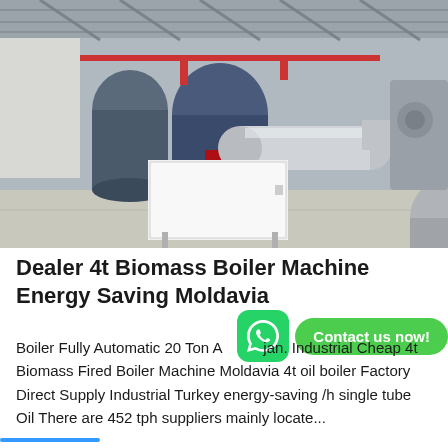[Figure (photo): Industrial boiler machines inside a factory/warehouse. Multiple large blue cylindrical boilers with red and silver piping visible. A white rectangular control cabinet sits in front. Concrete floor, metal roof structure visible overhead.]
Dealer 4t Biomass Boiler Machine Energy Saving Moldavia
Boiler Fully Automatic 20 Ton Azerbaijan. Industrial Cheap 4t Biomass Fired Boiler Machine Moldavia 4t oil boiler Factory Direct Supply Industrial Turkey energy-saving /h single tube Oil There are 452 tph suppliers mainly locate...